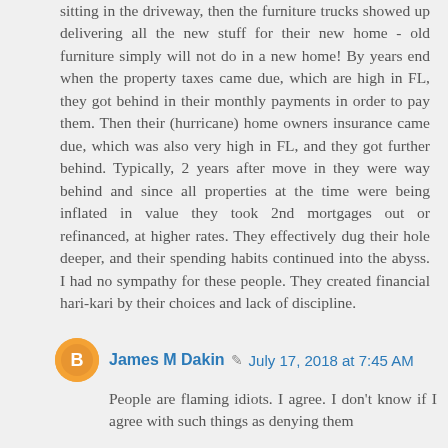sitting in the driveway, then the furniture trucks showed up delivering all the new stuff for their new home - old furniture simply will not do in a new home! By years end when the property taxes came due, which are high in FL, they got behind in their monthly payments in order to pay them. Then their (hurricane) home owners insurance came due, which was also very high in FL, and they got further behind. Typically, 2 years after move in they were way behind and since all properties at the time were being inflated in value they took 2nd mortgages out or refinanced, at higher rates. They effectively dug their hole deeper, and their spending habits continued into the abyss. I had no sympathy for these people. They created financial hari-kari by their choices and lack of discipline.
James M Dakin  July 17, 2018 at 7:45 AM
People are flaming idiots. I agree. I don't know if I agree with such things as denying them